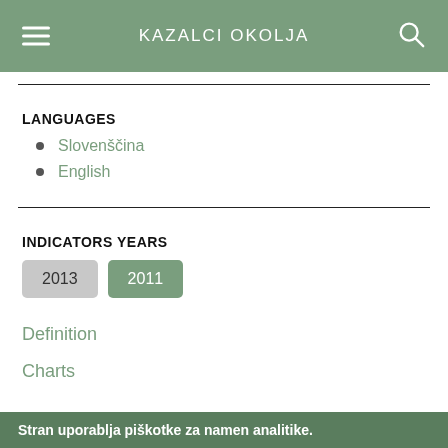KAZALCI OKOLJA
LANGUAGES
Slovenščina
English
INDICATORS YEARS
2013  2011
Definition
Charts
Stran uporablja piškotke za namen analitike.